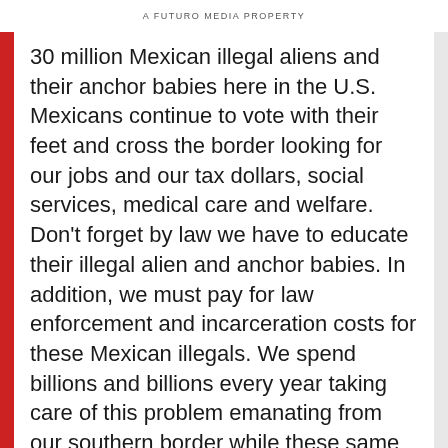A FUTURO MEDIA PROPERTY
30 million Mexican illegal aliens and their anchor babies here in the U.S. Mexicans continue to vote with their feet and cross the border looking for our jobs and our tax dollars, social services, medical care and welfare. Don't forget by law we have to educate their illegal alien and anchor babies. In addition, we must pay for law enforcement and incarceration costs for these Mexican illegals. We spend billions and billions every year taking care of this problem emanating from our southern border while these same illegal alien Mexicans send dollars home to their families earned illegally here in America. The border fence is an important first step to stop the flow from the south. Interior enforcement of our immigration laws including E-Verify